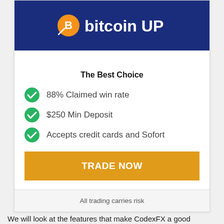[Figure (logo): Bitcoin UP logo: dark blue background with orange Bitcoin coin icon and white text 'bitcoin UP']
The Best Choice
88% Claimed win rate
$250 Min Deposit
Accepts credit cards and Sofort
[Figure (other): Orange button with bold white text 'TRADE NOW']
All trading carries risk
We will look at the features that make CodexFX a good